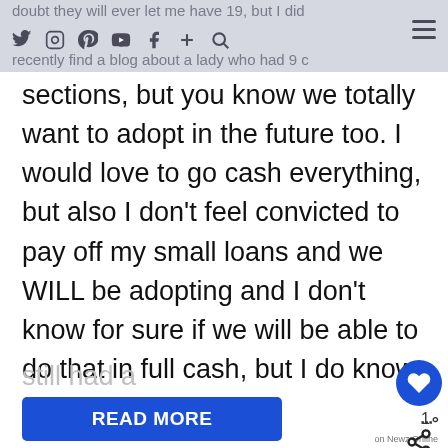doubt they will ever let me have 19, but I did recently find a blog about a lady who had 9 c
sections, but you know we totally want to adopt in the future too. I would love to go cash everything, but also I don't feel convicted to pay off my small loans and we WILL be adopting and I don't know for sure if we will be able to do that in full cash, but I do know for sure that Jesus wants us to do this, so we will trust in Him and do it the way He wants us to do it.I agree with you though, the book did make me "check" myself with materialistic things, and you know how "hippie" I am, and I still had a
READ MORE